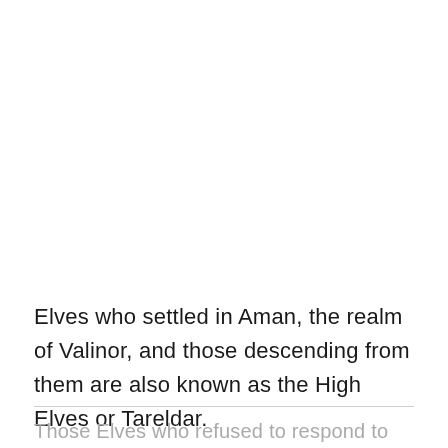Elves who settled in Aman, the realm of Valinor, and those descending from them are also known as the High Elves or Tareldar.
Those Elves who refused to respond to the Valar